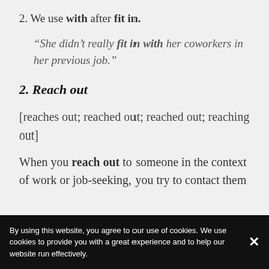2. We use with after fit in.
“She didn’t really fit in with her coworkers in her previous job.”
2. Reach out
[reaches out; reached out; reached out; reaching out]
When you reach out to someone in the context of work or job-seeking, you try to contact them
By using this website, you agree to our use of cookies. We use cookies to provide you with a great experience and to help our website run effectively.